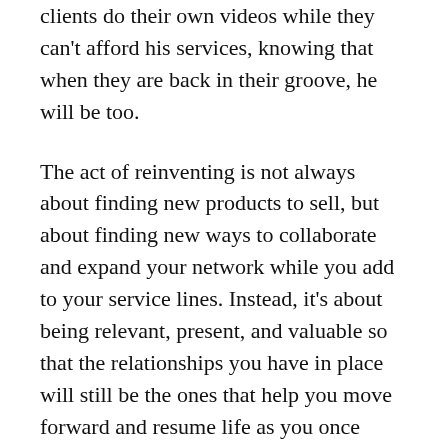clients do their own videos while they can't afford his services, knowing that when they are back in their groove, he will be too.
The act of reinventing is not always about finding new products to sell, but about finding new ways to collaborate and expand your network while you add to your service lines. Instead, it's about being relevant, present, and valuable so that the relationships you have in place will still be the ones that help you move forward and resume life as you once knew it.
No matter the nature or size of size your business, use this “time out” of your normal routine to contemplate ways to rise above by refocusing your time, money, energy, and